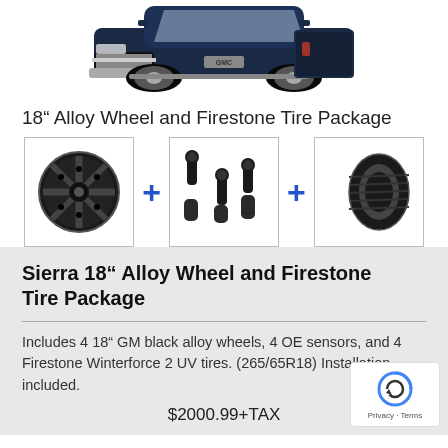[Figure (photo): Dark navy blue GMC Sierra truck, front view, cropped at top]
18” Alloy Wheel and Firestone Tire Package
[Figure (photo): Package components: alloy wheel + OE sensors + Firestone tire]
Sierra 18” Alloy Wheel and Firestone Tire Package
Includes 4 18” GM black alloy wheels, 4 OE sensors, and 4 Firestone Winterforce 2 UV tires. (265/65R18) Installation included.
$2000.99+TAX